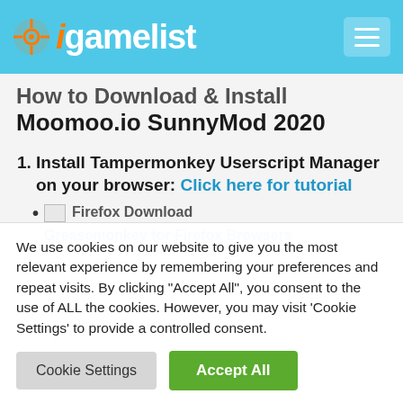igamelist
How to Download & Install Moomoo.io SunnyMod 2020
Install Tampermonkey Userscript Manager on your browser: Click here for tutorial
[Firefox image] Download Greasemonkey for Firefox Browsers
We use cookies on our website to give you the most relevant experience by remembering your preferences and repeat visits. By clicking "Accept All", you consent to the use of ALL the cookies. However, you may visit 'Cookie Settings' to provide a controlled consent.
Cookie Settings | Accept All